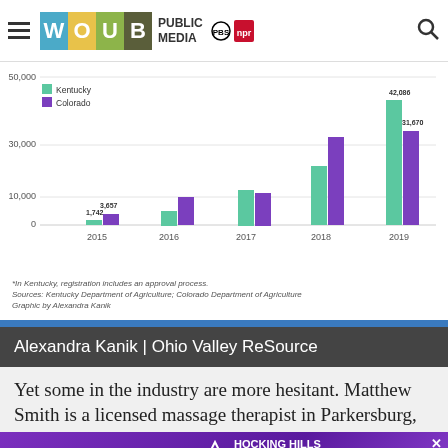[Figure (screenshot): WOUB Public Media header with logo (W, O, U, B colored tiles), PUBLIC MEDIA text, PBS and NPR badges, hamburger menu and search icon]
[Figure (grouped-bar-chart): Hemp grower registrations by state]
*In Kentucky, registration includes an approval process. Sources: Kentucky Department of Agriculture; Colorado Department of Agriculture Graphic by Alexandra Kanik
Alexandra Kanik | Ohio Valley ReSource
Yet some in the industry are more hesitant. Matthew Smith is a licensed massage therapist in Parkersburg,
[Figure (photo): Hocking Hills Banking Center advertisement banner with purple background, 'Chase Your Banking Chase Your Rewards' text, woman in yellow, and bank logo]